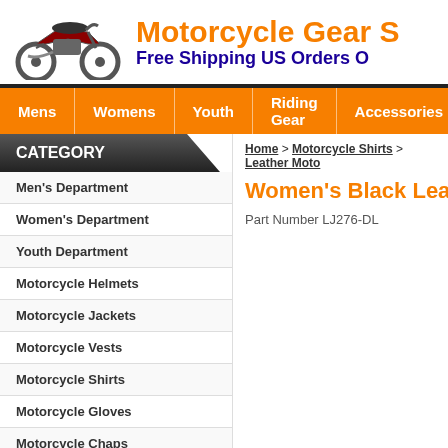Motorcycle Gear S
Free Shipping US Orders O
Mens
Womens
Youth
Riding Gear
Accessories
CATEGORY
Men's Department
Women's Department
Youth Department
Motorcycle Helmets
Motorcycle Jackets
Motorcycle Vests
Motorcycle Shirts
Motorcycle Gloves
Motorcycle Chaps
Motorcycle Pants
Home > Motorcycle Shirts > Leather Moto
Women's Black Leather
Part Number LJ276-DL